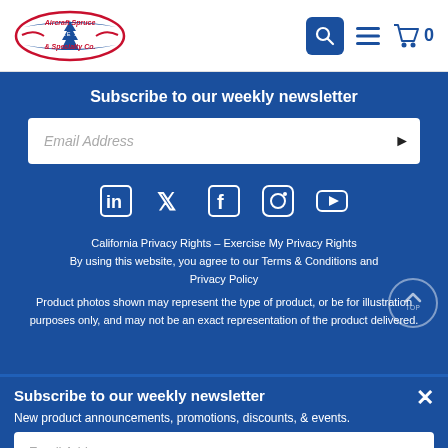[Figure (logo): Aircraft Spruce & Specialty Co. logo with airplane silhouette and SINCE 1965 text]
[Figure (screenshot): Navigation icons: search button (blue), hamburger menu, shopping cart with 0]
Subscribe to our weekly newsletter
[Figure (screenshot): Email address input field with submit arrow button]
[Figure (screenshot): Social media icons: LinkedIn, Twitter, Facebook, Instagram, YouTube]
California Privacy Rights – Exercise My Privacy Rights
By using this website, you agree to our Terms & Conditions and Privacy Policy
Product photos shown may represent the type of product, or be for illustration purposes only, and may not be an exact representation of the product delivered.
Subscribe to our weekly newsletter
New product announcements, promotions, discounts, & events.
[Figure (screenshot): Popup email address input field with submit arrow button]